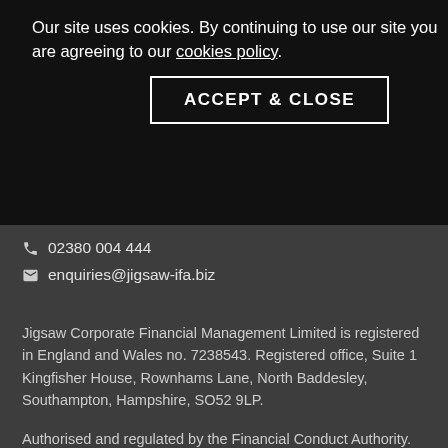Suite 1 Kingfisher House,
Rownhams Lane,
North Baddesley,
Southampton,
Hampshire,
SO52 9LP
Our site uses cookies. By continuing to use our site you are agreeing to our cookies policy.
ACCEPT & CLOSE
02380 004 444
enquiries@jigsaw-ifa.biz
Jigsaw Corporate Financial Management Limited is registered in England and Wales no. 7238543. Registered office, Suite 1 Kingfisher House, Rownhams Lane, North Baddesley, Southampton, Hampshire, SO52 9LP.
Authorised and regulated by the Financial Conduct Authority.